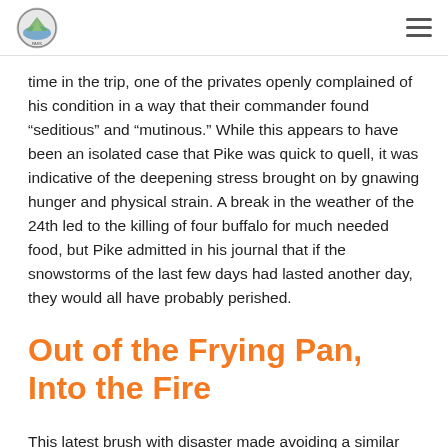[Logo] [Navigation menu icon]
time in the trip, one of the privates openly complained of his condition in a way that their commander found “seditious” and “mutinous.” While this appears to have been an isolated case that Pike was quick to quell, it was indicative of the deepening stress brought on by gnawing hunger and physical strain. A break in the weather of the 24th led to the killing of four buffalo for much needed food, but Pike admitted in his journal that if the snowstorms of the last few days had lasted another day, they would all have probably perished.
Out of the Frying Pan, Into the Fire
This latest brush with disaster made avoiding a similar incident all the more crucial, and necessitated leaving yet